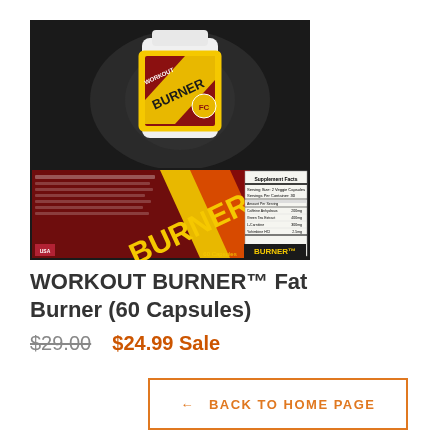[Figure (photo): Product photo of WORKOUT BURNER Fat Burner supplement bottle and label flat spread, on a dark background. The bottle shows yellow outlined label with red and black design and the word BURNER. The flat label shows supplement facts panel.]
WORKOUT BURNER™ Fat Burner (60 Capsules)
$29.00  $24.99 Sale
← BACK TO HOME PAGE